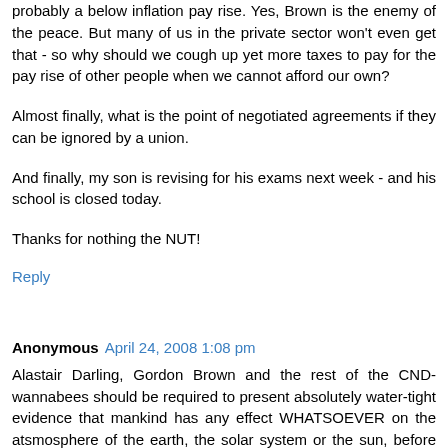probably a below inflation pay rise. Yes, Brown is the enemy of the peace. But many of us in the private sector won't even get that - so why should we cough up yet more taxes to pay for the pay rise of other people when we cannot afford our own?
Almost finally, what is the point of negotiated agreements if they can be ignored by a union.
And finally, my son is revising for his exams next week - and his school is closed today.
Thanks for nothing the NUT!
Reply
Anonymous April 24, 2008 1:08 pm
Alastair Darling, Gordon Brown and the rest of the CND-wannabees should be required to present absolutely water-tight evidence that mankind has any effect WHATSOEVER on the atsmosphere of the earth, the solar system or the sun, before they squander the taxpayers' money "off-